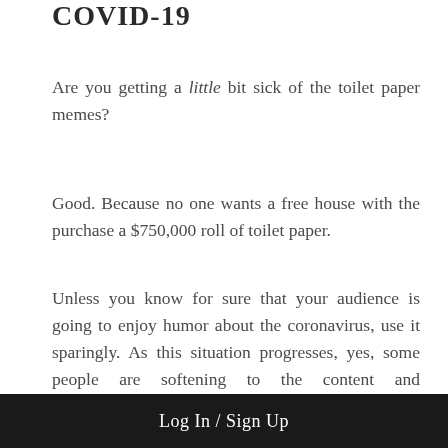COVID-19
Are you getting a little bit sick of the toilet paper memes?
Good. Because no one wants a free house with the purchase a $750,000 roll of toilet paper.
Unless you know for sure that your audience is going to enjoy humor about the coronavirus, use it sparingly. As this situation progresses, yes, some people are softening to the content and conversations about it, but the truth is that more people are becoming affected by it including the doctors, nurses and other front-line workers. And the last thing they want is to see their real estate
Log In / Sign Up